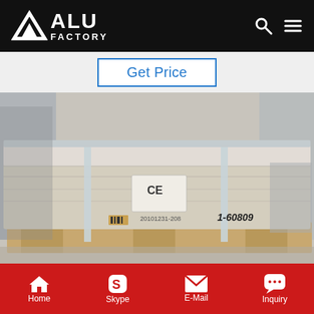ALU FACTORY
Get Price
[Figure (photo): Packaged aluminum sheets strapped with metal bands on a wooden pallet, wrapped in protective plastic/paper, with a CE label visible on the side. Industrial warehouse setting.]
Home | Skype | E-Mail | Inquiry